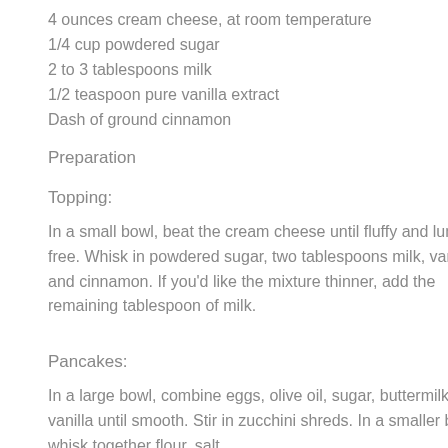4 ounces cream cheese, at room temperature
1/4 cup powdered sugar
2 to 3 tablespoons milk
1/2 teaspoon pure vanilla extract
Dash of ground cinnamon
Preparation
Topping:
In a small bowl, beat the cream cheese until fluffy and lump-free. Whisk in powdered sugar, two tablespoons milk, vanilla and cinnamon. If you'd like the mixture thinner, add the remaining tablespoon of milk.
Pancakes:
In a large bowl, combine eggs, olive oil, sugar, buttermilk and vanilla until smooth. Stir in zucchini shreds. In a smaller bowl, whisk together flour, salt,